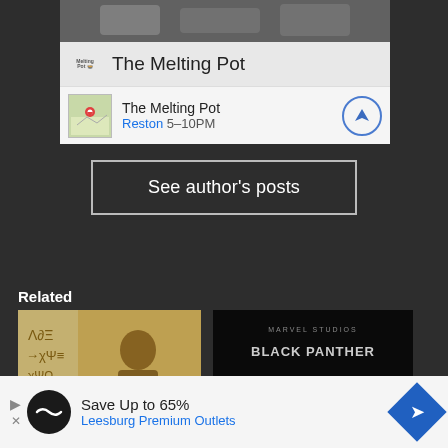[Figure (screenshot): Screenshot of a web/app UI showing The Melting Pot restaurant card with photo, brand row, and location row for Reston 5-10PM]
See author's posts
Related
[Figure (photo): Related article thumbnail showing a person in front of a colorful wall with Wakandan symbols]
[Figure (photo): Related article thumbnail: Marvel Studios Black Panther Wakanda on dark background]
[Figure (screenshot): Advertisement: Save Up to 65% Leesburg Premium Outlets with navigation icon]